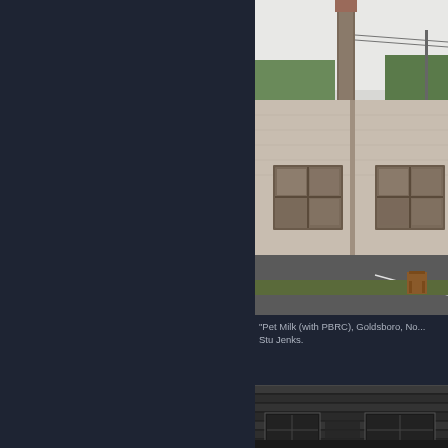[Figure (photo): Photograph of an industrial building exterior — a low beige/cream brick building with a tall brick smokestack rising above it. Two sets of multi-pane windows are visible. A parking lot is in the foreground with a wooden chair placed in it. Utility lines visible in the background sky.]
"Pet Milk (with PBRC), Goldsboro, No... Stu Jenks.
[Figure (photo): Black and white photograph of the lower portion of an old wooden building exterior with weathered boards and windows partially visible.]